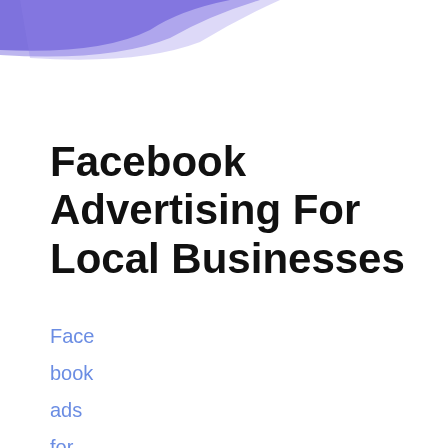[Figure (illustration): Decorative curved purple/indigo shape in the top-left corner of the page, serving as a header decoration.]
Facebook Advertising For Local Businesses
Face book ads for busin ess is the